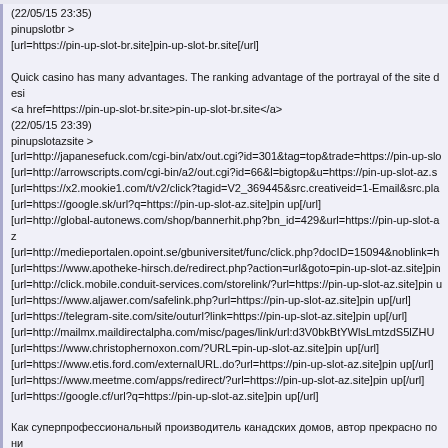(22/05/15 23:35)
pinupslotbr >
[url=https://pin-up-slot-br.site]pin-up-slot-br.site[/url]

Quick casino has many advantages. The ranking advantage of the portrayal of the site desi...
<a href=https://pin-up-slot-br.site>pin-up-slot-br.site</a>
(22/05/15 23:39)
pinupslotazsite >
[url=http://japanesefuck.com/cgi-bin/atx/out.cgi?id=301&tag=top&trade=https://pin-up-slo...
[url=http://arrowscripts.com/cgi-bin/a2/out.cgi?id=66&l=bigtop&u=https://pin-up-slot-az.s...
[url=https://x2.mookie1.com/t/v2/click?tagid=V2_369445&src.creativeid=1-Email&src.pla...
[url=https://google.sk/url?q=https://pin-up-slot-az.site]pin up[/url]
[url=http://global-autonews.com/shop/bannerhit.php?bn_id=429&url=https://pin-up-slot-az...
[url=http://medieportalen.opoint.se/gbuniversitet/func/click.php?docID=15094&noblink=h...
[url=https://www.apotheke-hirsch.de/redirect.php?action=url&goto=pin-up-slot-az.site]pin...
[url=http://click.mobile.conduit-services.com/storelink/?url=https://pin-up-slot-az.site]pin u...
[url=https://www.aljawer.com/safelink.php?url=https://pin-up-slot-az.site]pin up[/url]
[url=https://telegram-site.com/site/outurl?link=https://pin-up-slot-az.site]pin up[/url]
[url=http://mailmx.maildirectalpha.com/misc/pages/link/url:d3V0bkBtYWlsLmtzdS5lZHU...
[url=https://www.christophernoxon.com/?URL=pin-up-slot-az.site]pin up[/url]
[url=https://www.etis.ford.com/externalURL.do?url=https://pin-up-slot-az.site]pin up[/url]
[url=https://www.meetme.com/apps/redirect/?url=https://pin-up-slot-az.site]pin up[/url]
[url=https://google.cf/url?q=https://pin-up-slot-az.site]pin up[/url]

Как суперпрофессиональный производитель канадских домов, автор прекрасно пони...
<a href=https://internet.ir/rd.php?url=https://pin-up-slot-az.site>pin up</a>
<a href=http://j.lix7.net/?https://pin-up-slot-az.site>pin up</a>
<a href=https://triplepointpr-dot-yamm-track.appspot.com/Redirect?ukey=1023wWwUOo...
<a href=http://www.torque.co.nz/TorqueCMS.php?ln=_link001000013820103161454000...
<a href=https://login.ermis.gov.gr/pls/orasso/orasso.wwctx_app_language.set_language?p...
pinupslotbr >
[url=https://pin-up-slot-br.site]pin-up-slot-br.site[/url]
Quick casino has many advantages. The ranking advantage of the portrayal of the site desi...
<a href=https://pin-up-slot-br.site>pin-up-slot-br.site</a>
(22/05/15 23:39)
pinupslotazsite >
Как суперпрофессиональный производитель канадских домов, автор прекрасно пони...